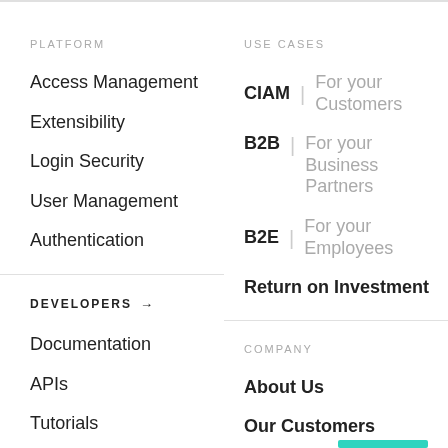PLATFORM
Access Management
Extensibility
Login Security
User Management
Authentication
USE CASES
CIAM | For your Customers
B2B | For your Business Partners
B2E | For your Employees
Return on Investment
DEVELOPERS →
Documentation
APIs
Tutorials
COMPANY
About Us
Our Customers
Partners